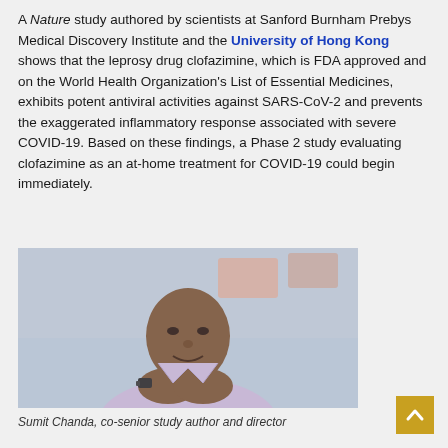A Nature study authored by scientists at Sanford Burnham Prebys Medical Discovery Institute and the University of Hong Kong shows that the leprosy drug clofazimine, which is FDA approved and on the World Health Organization's List of Essential Medicines, exhibits potent antiviral activities against SARS-CoV-2 and prevents the exaggerated inflammatory response associated with severe COVID-19. Based on these findings, a Phase 2 study evaluating clofazimine as an at-home treatment for COVID-19 could begin immediately.
[Figure (photo): Portrait photo of Sumit Chanda, a man leaning forward with hands clasped under his chin, wearing a light purple shirt and a watch, photographed in a lab setting.]
Sumit Chanda, co-senior study author and director